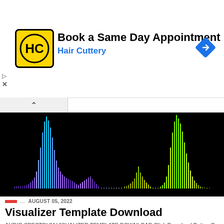[Figure (screenshot): Advertisement banner for Hair Cuttery: logo with HC initials on yellow background, text 'Book a Same Day Appointment' and 'Hair Cuttery' in blue, navigation arrow icon on right]
[Figure (screenshot): Audio spectrum visualizer screenshot showing blue/purple bars on left side and green/yellow-green bars on right side on black background, representing audio frequency spectrum visualization]
AUGUST 05, 2022
Visualizer Template Download
AUDIO SPECTRUM VISUALIZER TEMPLATE DOWNLOAD Click Download Button Go To Download Downlaod Link JavaScript needs to be enabled...